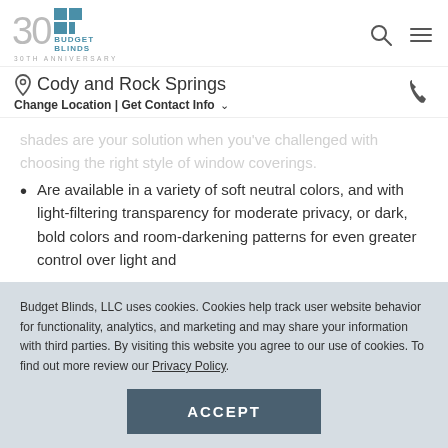Budget Blinds 30th Anniversary — Cody and Rock Springs | Change Location | Get Contact Info
shades are your solution when you've challenged with choosing the right style of window coverings.
Are available in a variety of soft neutral colors, and with light-filtering transparency for moderate privacy, or dark, bold colors and room-darkening patterns for even greater control over light and
Budget Blinds, LLC uses cookies. Cookies help track user website behavior for functionality, analytics, and marketing and may share your information with third parties. By visiting this website you agree to our use of cookies. To find out more review our Privacy Policy.